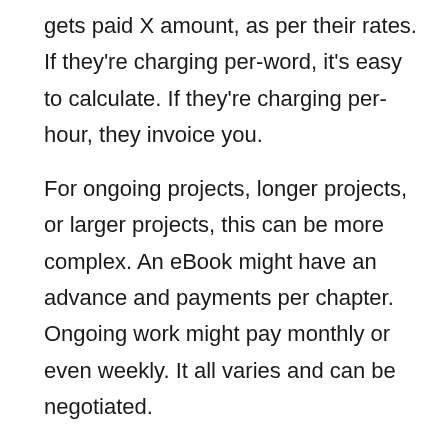gets paid X amount, as per their rates. If they're charging per-word, it's easy to calculate. If they're charging per-hour, they invoice you.
For ongoing projects, longer projects, or larger projects, this can be more complex. An eBook might have an advance and payments per chapter. Ongoing work might pay monthly or even weekly. It all varies and can be negotiated.
This section can also include severance and